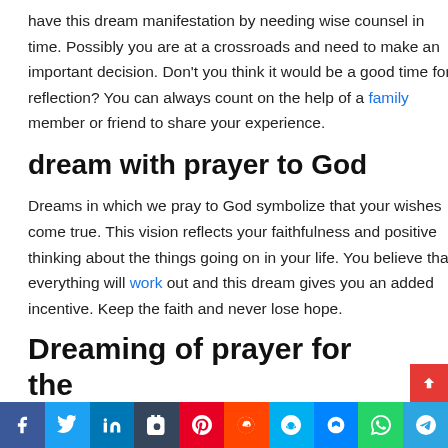have this dream manifestation by needing wise counsel in time. Possibly you are at a crossroads and need to make an important decision. Don't you think it would be a good time for reflection? You can always count on the help of a family member or friend to share your experience.
dream with prayer to God
Dreams in which we pray to God symbolize that your wishes come true. This vision reflects your faithfulness and positive thinking about the things going on in your life. You believe that everything will work out and this dream gives you an added incentive. Keep the faith and never lose hope.
Dreaming of prayer for the